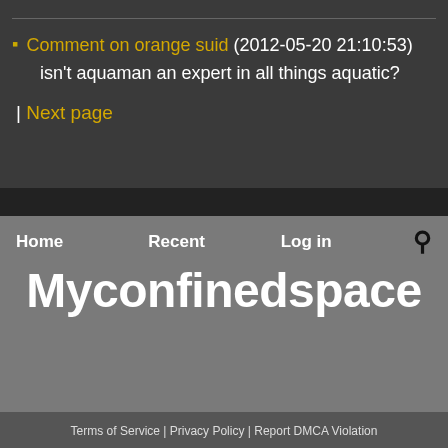Comment on orange suid (2012-05-20 21:10:53)
isn't aquaman an expert in all things aquatic?
| Next page
Home   Recent   Log in
Myconfinedspace
Terms of Service | Privacy Policy | Report DMCA Violation